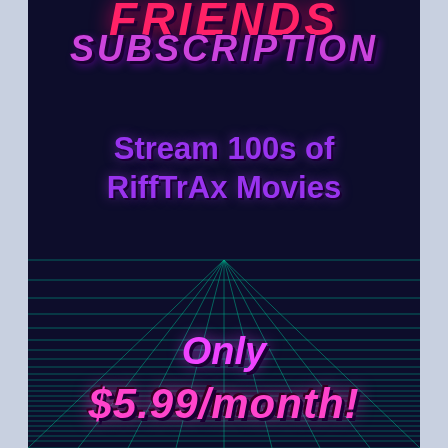SUBSCRIPTION
Stream 100s of RiffTrax Movies
Only $5.99/month!